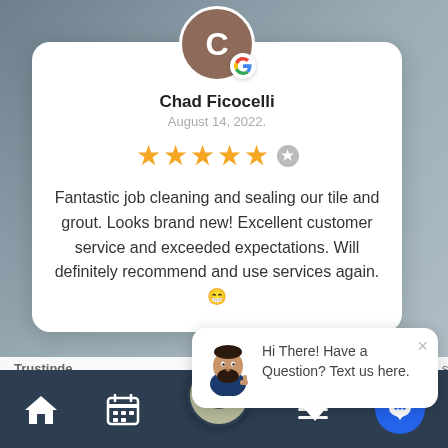[Figure (screenshot): Google review screenshot showing reviewer Chad Ficocelli with a 5-star rating and review text, including a chat widget overlay and mobile navigation bar.]
Chad Ficocelli
August 14, 2022.
Fantastic job cleaning and sealing our tile and grout. Looks brand new! Excellent customer service and exceeded expectations. Will definitely recommend and use services again.😁
Hi There! Have a Question? Text us here.
Trustinde...
[Figure (infographic): Bottom navigation bar with home, calendar, phone fab, hamburger menu, and chat bubble icons on dark background.]